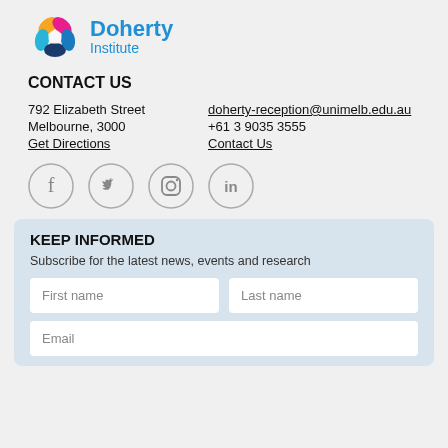[Figure (logo): Doherty Institute logo with colorful petals icon and blue text reading 'Doherty Institute']
CONTACT US
792 Elizabeth Street   doherty-reception@unimelb.edu.au
Melbourne, 3000          +61 3 9035 3555
Get Directions            Contact Us
[Figure (infographic): Social media icons in circular outlines: Facebook, Twitter, Instagram, LinkedIn]
KEEP INFORMED
Subscribe for the latest news, events and research
First name   Last name   Email (form fields)